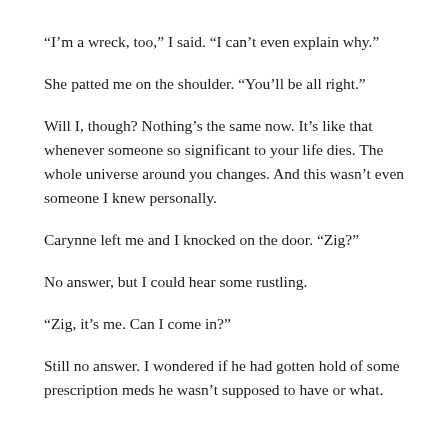“I’m a wreck, too,” I said. “I can’t even explain why.”
She patted me on the shoulder. “You’ll be all right.”
Will I, though? Nothing’s the same now. It’s like that whenever someone so significant to your life dies. The whole universe around you changes. And this wasn’t even someone I knew personally.
Carynne left me and I knocked on the door. “Zig?”
No answer, but I could hear some rustling.
“Zig, it’s me. Can I come in?”
Still no answer. I wondered if he had gotten hold of some prescription meds he wasn’t supposed to have or what.